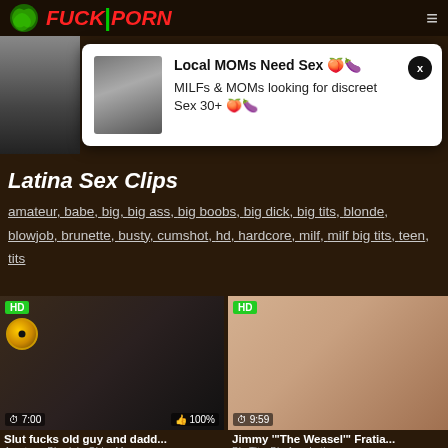FUCK|PORN
[Figure (screenshot): Ad popup: Local MOMs Need Sex. MILFs & MOMs looking for discreet Sex 30+]
Latina Sex Clips
amateur, babe, big, big ass, big boobs, big dick, big tits, blonde, blowjob, brunette, busty, cumshot, hd, hardcore, milf, milf big tits, teen, tits
[Figure (screenshot): HD video thumbnail - Slut fucks old guy and dadd... Duration 7:00, Rating 100%]
[Figure (screenshot): HD video thumbnail - Jimmy 'The Weasel' Fratia... Duration 9:59]
Slut fucks old guy and dadd...
Amateur  Blowjob  Older Men  ...
Jimmy "The Weasel" Fratia...
Big Tits  Big Ass  Latina  ...